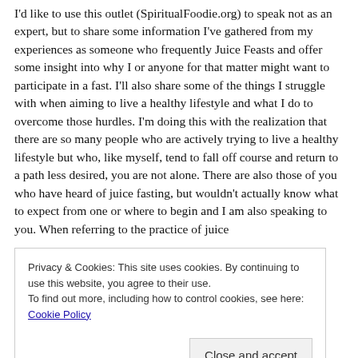I'd like to use this outlet (SpiritualFoodie.org) to speak not as an expert, but to share some information I've gathered from my experiences as someone who frequently Juice Feasts and offer some insight into why I or anyone for that matter might want to participate in a fast. I'll also share some of the things I struggle with when aiming to live a healthy lifestyle and what I do to overcome those hurdles. I'm doing this with the realization that there are so many people who are actively trying to live a healthy lifestyle but who, like myself, tend to fall off course and return to a path less desired, you are not alone. There are also those of you who have heard of juice fasting, but wouldn't actually know what to expect from one or where to begin and I am also speaking to you. When referring to the practice of juice...
Privacy & Cookies: This site uses cookies. By continuing to use this website, you agree to their use. To find out more, including how to control cookies, see here: Cookie Policy
gluttonous satisfaction.